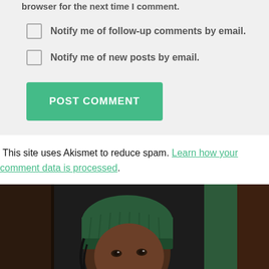browser for the next time I comment.
Notify me of follow-up comments by email.
Notify me of new posts by email.
POST COMMENT
This site uses Akismet to reduce spam. Learn how your comment data is processed.
[Figure (photo): A person wearing a dark green knit hat, looking to the side, against a dark wooden background with a green post visible.]